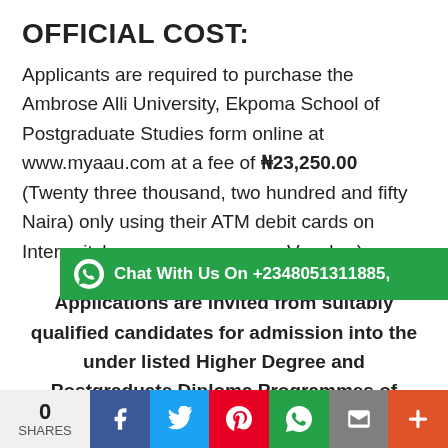OFFICIAL COST:
Applicants are required to purchase the Ambrose Alli University, Ekpoma School of Postgraduate Studies form online at www.myaau.com at a fee of ₦23,250.00 (Twenty three thousand, two hundred and fifty Naira) only using their ATM debit cards on Interswitch ... Voucher)
[Figure (other): WhatsApp chat banner: green bar with WhatsApp icon and text 'Chat With Us On +2348051311885,']
Applications are invited from suitably qualified candidates for admission into the under listed Higher Degree and Postgraduate Diploma Programmes of Ambrose Alli University, Ekpoma in
0 SHARES | Facebook | Twitter | Pinterest | WhatsApp | Email | +